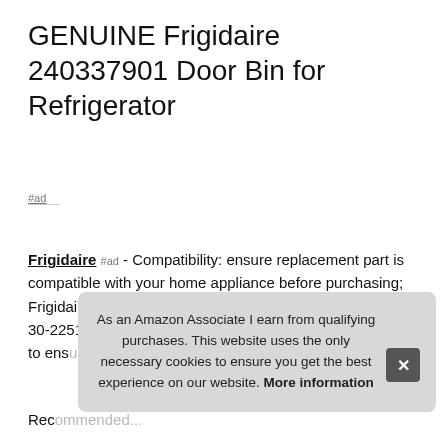GENUINE Frigidaire 240337901 Door Bin for Refrigerator
#ad
Frigidaire #ad - Compatibility: ensure replacement part is compatible with your home appliance before purchasing; Frigidaire 30-2251-00-01, 57-2707-10-02, 57-2707-10-01, 30-2251-23-01. Installation: follow installation instructions to ensure proper function of this appliance...
As an Amazon Associate I earn from qualifying purchases. This website uses the only necessary cookies to ensure you get the best experience on our website. More information
Rec...
Part no: 240337901. Genuine replacement part; Mode...